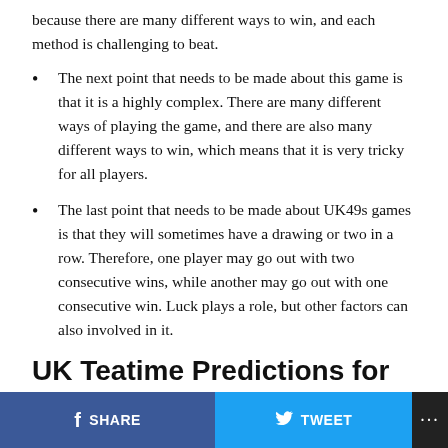because there are many different ways to win, and each method is challenging to beat.
The next point that needs to be made about this game is that it is a highly complex. There are many different ways of playing the game, and there are also many different ways to win, which means that it is very tricky for all players.
The last point that needs to be made about UK49s games is that they will sometimes have a drawing or two in a row. Therefore, one player may go out with two consecutive wins, while another may go out with one consecutive win. Luck plays a role, but other factors can also involved in it.
UK Teatime Predictions for Today 16 May 2022